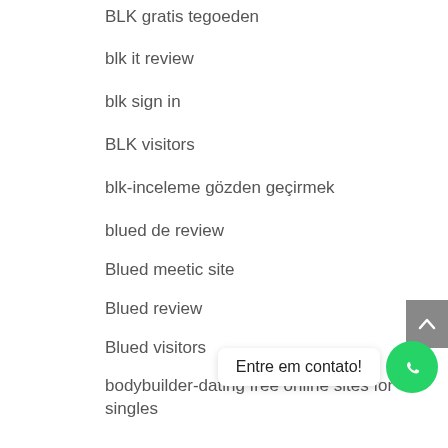BLK gratis tegoeden
blk it review
blk sign in
BLK visitors
blk-inceleme gözden geçirmek
blued de review
Blued meetic site
Blued review
Blued visitors
bodybuilder-dating free online sites for singles
bondage com dating
bondage com indir